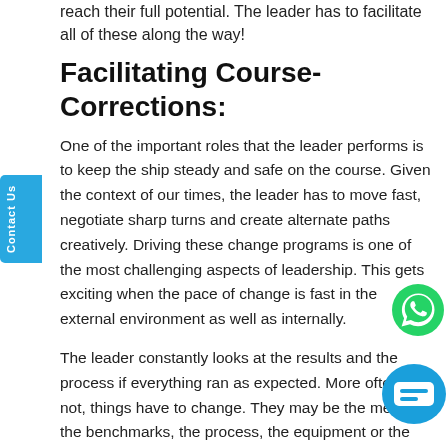reach their full potential. The leader has to facilitate all of these along the way!
Facilitating Course-Corrections:
One of the important roles that the leader performs is to keep the ship steady and safe on the course. Given the context of our times, the leader has to move fast, negotiate sharp turns and create alternate paths creatively. Driving these change programs is one of the most challenging aspects of leadership. This gets exciting when the pace of change is fast in the external environment as well as internally.
The leader constantly looks at the results and the process if everything ran as expected. More often than not, things have to change. They may be the metrics, the benchmarks, the process, the equipment or the raw materials. When there are changes in the external environment such